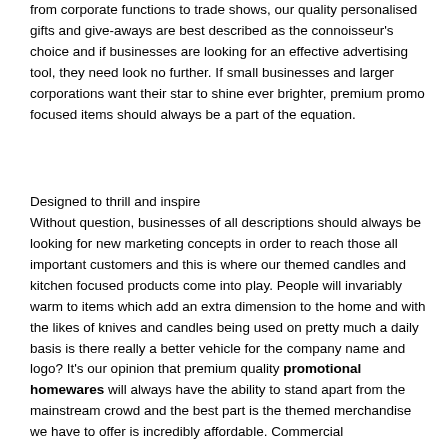from corporate functions to trade shows, our quality personalised gifts and give-aways are best described as the connoisseur's choice and if businesses are looking for an effective advertising tool, they need look no further. If small businesses and larger corporations want their star to shine ever brighter, premium promo focused items should always be a part of the equation.
Designed to thrill and inspire
Without question, businesses of all descriptions should always be looking for new marketing concepts in order to reach those all important customers and this is where our themed candles and kitchen focused products come into play. People will invariably warm to items which add an extra dimension to the home and with the likes of knives and candles being used on pretty much a daily basis is there really a better vehicle for the company name and logo? It's our opinion that premium quality promotional homewares will always have the ability to stand apart from the mainstream crowd and the best part is the themed merchandise we have to offer is incredibly affordable. Commercial